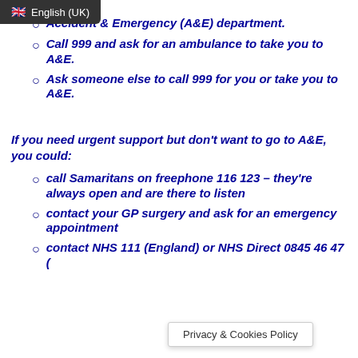[Figure (screenshot): Language selector bar showing UK flag and 'English (UK)' text on dark background]
Accident & Emergency (A&E) department.
Call 999 and ask for an ambulance to take you to A&E.
Ask someone else to call 999 for you or take you to A&E.
If you need urgent support but don't want to go to A&E, you could:
call Samaritans on freephone 116 123 – they're always open and are there to listen
contact your GP surgery and ask for an emergency appointment
contact NHS 111 (England) or NHS Direct 0845 46 47 (